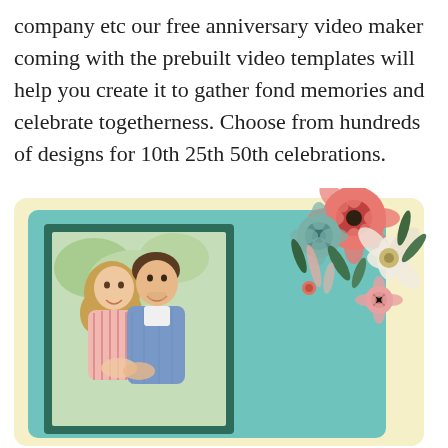company etc our free anniversary video maker coming with the prebuilt video templates will help you create it to gather fond memories and celebrate togetherness. Choose from hundreds of designs for 10th 25th 50th celebrations.
[Figure (illustration): An anniversary video maker template card. A cream/yellow outer card with a teal/mint inner panel. Inside is a dark green photo frame containing a smiling couple — a woman with long blonde hair in a pink striped top and a man in a denim shirt. Decorative illustrated flowers (pink, white, coral, teal) adorn the upper right corner of the card.]